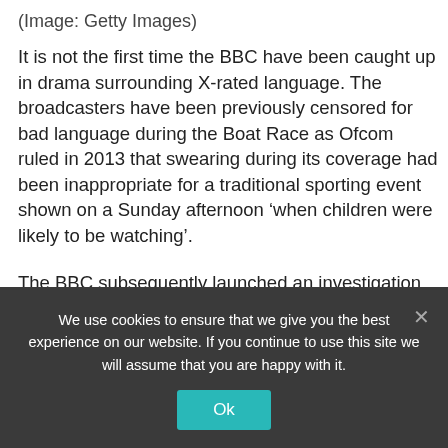(Image: Getty Images)
It is not the first time the BBC have been caught up in drama surrounding X-rated language. The broadcasters have been previously censored for bad language during the Boat Race as Ofcom ruled in 2013 that swearing during its coverage had been inappropriate for a traditional sporting event shown on a Sunday afternoon ‘when children were likely to be watching’.
The BBC subsequently launched an investigation after viewers complained about the word ‘f***’ being
We use cookies to ensure that we give you the best experience on our website. If you continue to use this site we will assume that you are happy with it.